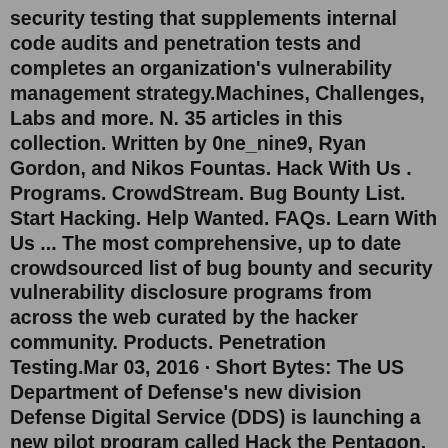security testing that supplements internal code audits and penetration tests and completes an organization's vulnerability management strategy.Machines, Challenges, Labs and more. N. 35 articles in this collection. Written by 0ne_nine9, Ryan Gordon, and Nikos Fountas. Hack With Us . Programs. CrowdStream. Bug Bounty List. Start Hacking. Help Wanted. FAQs. Learn With Us ... The most comprehensive, up to date crowdsourced list of bug bounty and security vulnerability disclosure programs from across the web curated by the hacker community. Products. Penetration Testing.Mar 03, 2016 · Short Bytes: The US Department of Defense's new division Defense Digital Service (DDS) is launching a new pilot program called Hack the Pentagon. This first of its kind bug bounty program of ... I will be covering the full A+ course which consists of 18 modules. The first 9 modules is Core 1 and the last 9 modules is Core 2. There will be 20 videos total, the first video is just the 4min intro explaining the course details. This is then followed by